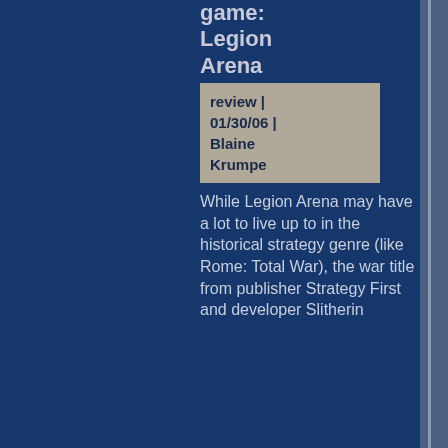game: Legion Arena
review | 01/30/06 | Blaine Krumpe
While Legion Arena may have a lot to live up to in the historical strategy genre (like Rome: Total War), the war title from publisher Strategy First and developer Slitherin